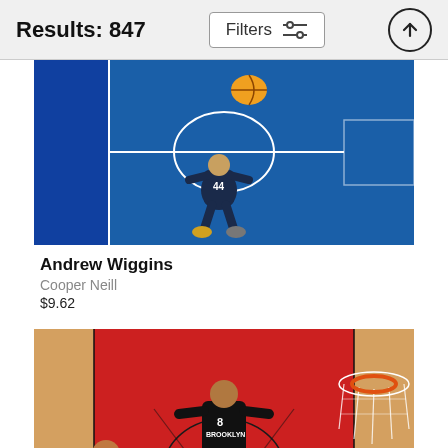Results: 847
Filters
[Figure (photo): Aerial view of basketball player #44 on a blue court, seen from above, wearing a dark jersey.]
Andrew Wiggins
Cooper Neill
$9.62
[Figure (photo): Aerial view of basketball game, player #8 in a black Brooklyn jersey driving near the basket on a red court.]